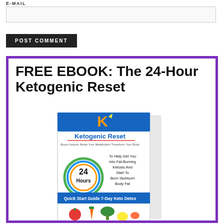EMAIL
(email input field)
POST COMMENT
[Figure (illustration): FREE EBOOK promotional banner for 'The 24-Hour Ketogenic Reset' showing book cover with vegetables, a 'K' logo, '24 Hours' circle graphic, text about fat-burning ketosis and 7-Day Keto Detox quick start guide. Purple border around the entire banner.]